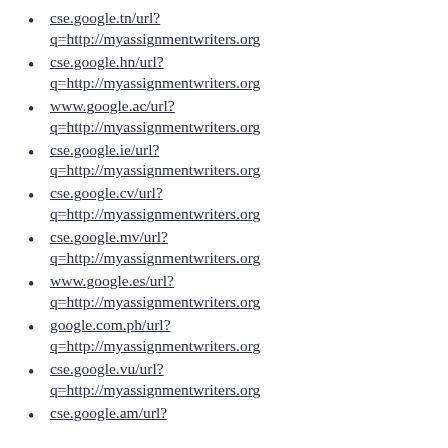cse.google.tn/url?q=http://myassignmentwriters.org
cse.google.hn/url?q=http://myassignmentwriters.org
www.google.ac/url?q=http://myassignmentwriters.org
cse.google.ie/url?q=http://myassignmentwriters.org
cse.google.cv/url?q=http://myassignmentwriters.org
cse.google.mv/url?q=http://myassignmentwriters.org
www.google.es/url?q=http://myassignmentwriters.org
google.com.ph/url?q=http://myassignmentwriters.org
cse.google.vu/url?q=http://myassignmentwriters.org
cse.google.am/url?